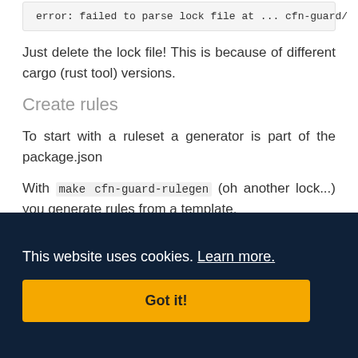error: failed to parse lock file at ... cfn-guard/
Just delete the lock file! This is because of different cargo (rust tool) versions.
Create rules
To start with a ruleset a generator is part of the package.json
With make cfn-guard-rulegen (oh another lock...) you generate rules from a template.
This website uses cookies. Learn more.
Got it!